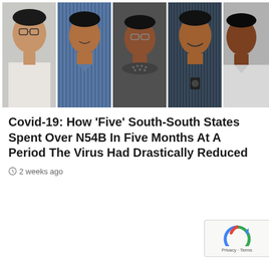[Figure (photo): A composite photo strip showing five Nigerian politicians/governors side by side, each a headshot/torso shot. Person 1: man with glasses in white shirt. Person 2: man in blue striped shirt smiling. Person 3: man with glasses in dark dotted-collar top. Person 4: smiling man in dark striped outfit with brooch. Person 5: man in white shirt, partially visible.]
Covid-19: How ‘Five’ South-South States Spent Over N54B In Five Months At A Period The Virus Had Drastically Reduced
2 weeks ago